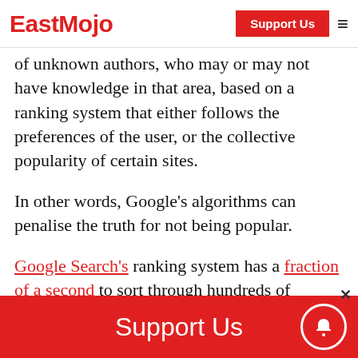EastMojo | Support Us
of unknown authors, who may or may not have knowledge in that area, based on a ranking system that either follows the preferences of the user, or the collective popularity of certain sites.

In other words, Google's algorithms can penalise the truth for not being popular.

Google Search's ranking system has a fraction of a second to sort through hundreds of billions of web pages and index them to f…
Support Us